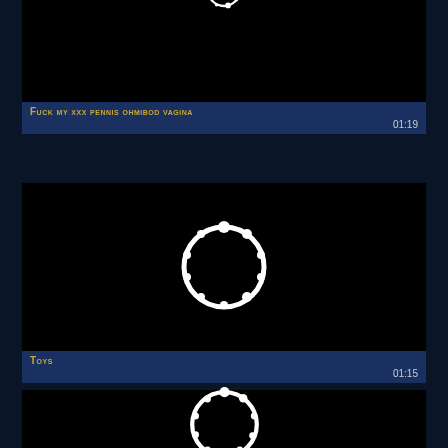[Figure (screenshot): Video thumbnail card 1 - black background with partial white loading spinner circle at top center]
Fuck my xxx pennis ohmibod vagina
01:19
[Figure (screenshot): Video thumbnail card 2 - black background with white loading spinner circle in center]
Toys
01:15
[Figure (screenshot): Video thumbnail card 3 - black background with white loading spinner circle, partially visible at bottom of page]